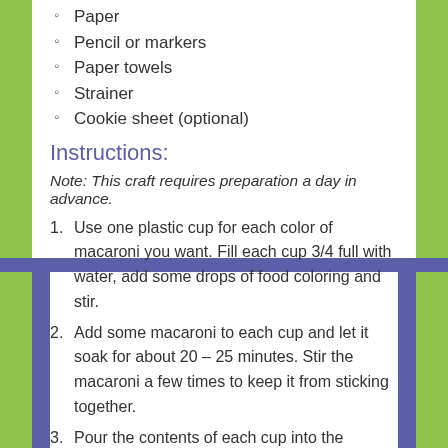Paper
Pencil or markers
Paper towels
Strainer
Cookie sheet (optional)
Instructions:
Note: This craft requires preparation a day in advance.
Use one plastic cup for each color of macaroni you want. Fill each cup 3/4 full with water, add some drops of food coloring and stir.
Add some macaroni to each cup and let it soak for about 20 – 25 minutes. Stir the macaroni a few times to keep it from sticking together.
Pour the contents of each cup into the kitchen strainer (one cup at a time), and lay the macaroni out on paper towels to dry. It is a good idea to have the paper towels on something like a cookie sheet so you won't stain your countertop with the food color.